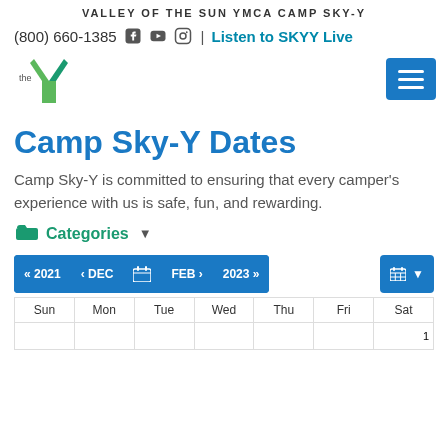VALLEY OF THE SUN YMCA CAMP SKY-Y
(800) 660-1385 | Listen to SKYY Live
[Figure (logo): YMCA 'the Y' logo in green and teal, with hamburger menu button in blue on the right]
Camp Sky-Y Dates
Camp Sky-Y is committed to ensuring that every camper's experience with us is safe, fun, and rewarding.
Categories
| Sun | Mon | Tue | Wed | Thu | Fri | Sat |
| --- | --- | --- | --- | --- | --- | --- |
|  |  |  |  |  |  | 1 |